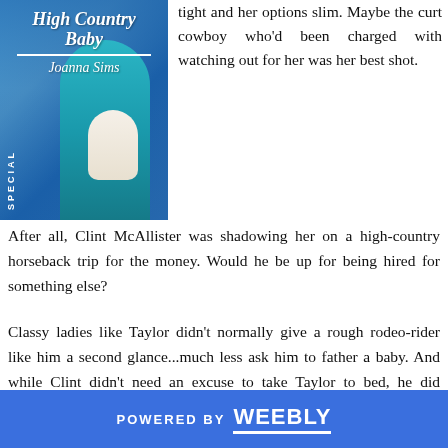[Figure (illustration): Book cover for 'High Country Baby' by Joanna Sims. Blue cover with a woman in a teal dress holding a baby in white clothing. Text reads 'Special Edition' vertically on the left spine.]
tight and her options slim. Maybe the curt cowboy who'd been charged with watching out for her was her best shot. After all, Clint McAllister was shadowing her on a high-country horseback trip for the money. Would he be up for being hired for something else?
Classy ladies like Taylor didn't normally give a rough rodeo-rider like him a second glance...much less ask him to father a baby. And while Clint didn't need an excuse to take Taylor to bed, he did wonder if this plan was perhaps the wisest. Who knew what would happen once he got to taste the forbidden?
POWERED BY weebly